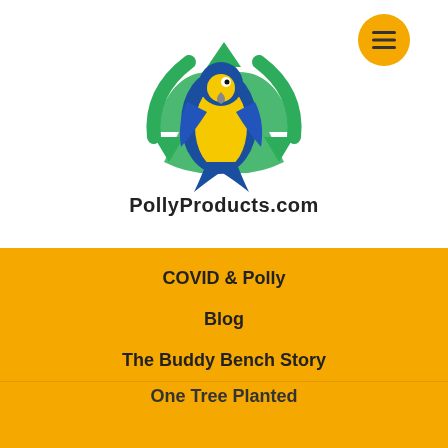[Figure (logo): PollyProducts.com logo with parrot and recycling arrows, plus hamburger menu button]
COVID & Polly
Blog
The Buddy Bench Story
One Tree Planted
complete selection of options on left to preview engraving
- 1 +
ADD TO CART